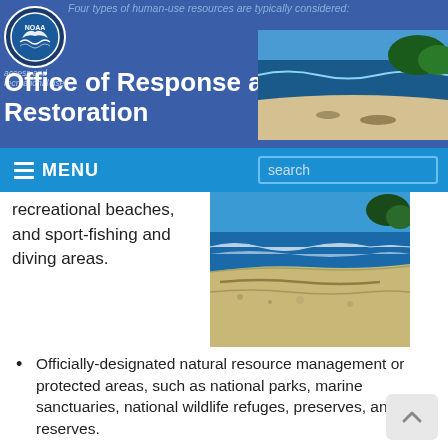Four types of human-use resources are typically considered:
[Figure (logo): NOAA circular logo with blue background and white bird/wave design]
Office of Response and Restoration
[Figure (photo): Ocean/beach aerial photo in header]
MENU
search
recreational beaches, and sport-fishing and diving areas.
[Figure (photo): Sandy beach with ocean waves and trees]
Officially-designated natural resource management or protected areas, such as national parks, marine sanctuaries, national wildlife refuges, preserves, and reserves.
Resource extraction sites, such as aquaculture sites, locations of subsistence and commercial